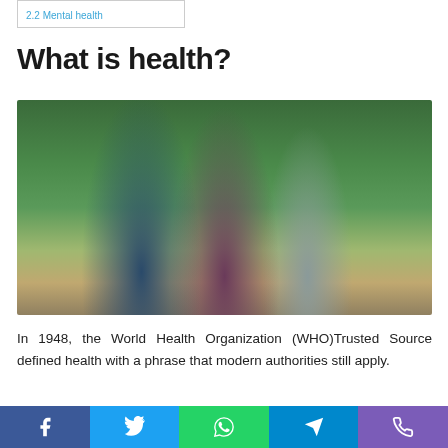2.2 Mental health
What is health?
[Figure (photo): Three people hiking on a forest trail, smiling and wearing backpacks — two teenagers and an adult woman in the middle.]
In 1948, the World Health Organization (WHO)Trusted Source defined health with a phrase that modern authorities still apply.
Social share buttons: Facebook, Twitter, WhatsApp, Telegram, Phone